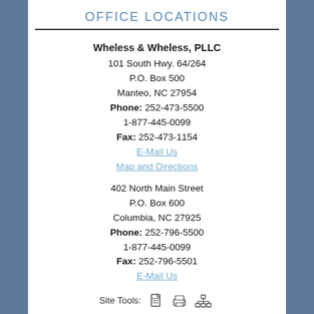OFFICE LOCATIONS
Wheless & Wheless, PLLC
101 South Hwy. 64/264
P.O. Box 500
Manteo, NC 27954
Phone: 252-473-5500
1-877-445-0099
Fax: 252-473-1154
E-Mail Us
Map and Directions
402 North Main Street
P.O. Box 600
Columbia, NC 27925
Phone: 252-796-5500
1-877-445-0099
Fax: 252-796-5501
E-Mail Us
Site Tools: